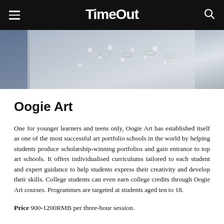TimeOut
[Figure (photo): Close-up photo of clothing fabric with floral/leaf pattern details, showing denim and light-colored textiles]
Oogie Art
One for younger learners and teens only, Oogie Art has established itself as one of the most successful art portfolio schools in the world by helping students produce scholarship-winning portfolios and gain entrance to top art schools. It offers individualised curriculums tailored to each student and expert guidance to help students express their creativity and develop their skills. College students can even earn college credits through Oogie Art courses. Programmes are targeted at students aged ten to 18.
Price 900-1200RMB per three-hour session.